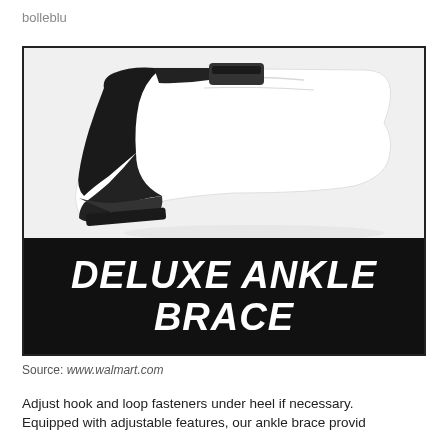bolleblu
[Figure (photo): Product image of a Deluxe Ankle Brace showing a foot wearing a white sock with a black ankle brace support, with bold italic white text 'DELUXE ANKLE BRACE' on a black background banner below the photo.]
Source: www.walmart.com
Adjust hook and loop fasteners under heel if necessary. Equipped with adjustable features, our ankle brace provides...